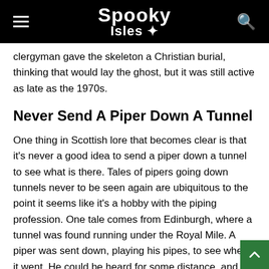Spooky Isles
clergyman gave the skeleton a Christian burial, thinking that would lay the ghost, but it was still active as late as the 1970s.
Never Send A Piper Down A Tunnel
One thing in Scottish lore that becomes clear is that it's never a good idea to send a piper down a tunnel to see what is there. Tales of pipers going down tunnels never to be seen again are ubiquitous to the point it seems like it's a hobby with the piping profession. One tale comes from Edinburgh, where a tunnel was found running under the Royal Mile. A piper was sent down, playing his pipes, to see where it went. He could be heard for some distance, and then just disappeared. The road was dug up to see what had happen